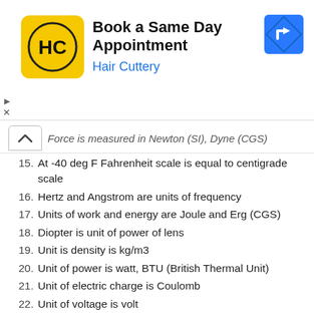[Figure (other): Advertisement banner for Hair Cuttery: 'Book a Same Day Appointment' with logo and turn arrow icon]
Force is measured in Newton (SI), Dyne (CGS)
15. At -40 deg F Fahrenheit scale is equal to centigrade scale
16. Hertz and Angstrom are units of frequency
17. Units of work and energy are Joule and Erg (CGS)
18. Diopter is unit of power of lens
19. Unit is density is kg/m3
20. Unit of power is watt, BTU (British Thermal Unit)
21. Unit of electric charge is Coulomb
22. Unit of voltage is volt
23. Unit of electric resistance is ohm
24. Unit of capacitance is Farad
25. Unit of magnetic flux is Weber, Tesla
26. Unit of radio activity is Becquerel